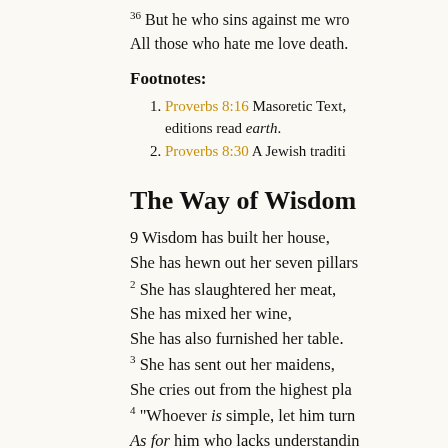36 But he who sins against me wrongs himself; All those who hate me love death.
Footnotes:
1. Proverbs 8:16 Masoretic Text, editions read earth.
2. Proverbs 8:30 A Jewish traditi...
The Way of Wisdom
9 Wisdom has built her house, She has hewn out her seven pillars;
2 She has slaughtered her meat, She has mixed her wine, She has also furnished her table.
3 She has sent out her maidens, She cries out from the highest pla...
4 "Whoever is simple, let him turn... As for him who lacks understandin...
5 "Come, eat of my bread And drink of the wine I have mixe...
6 Forsake foolishness and live...